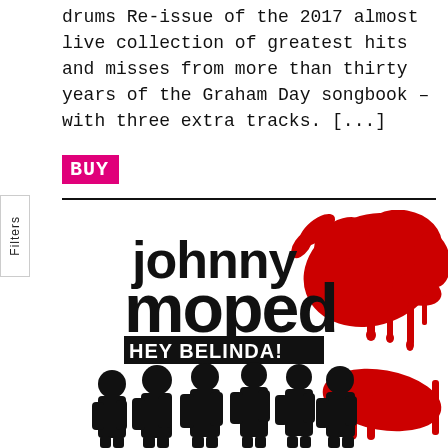drums Re-issue of the 2017 almost live collection of greatest hits and misses from more than thirty years of the Graham Day songbook – with three extra tracks. [...]
BUY
[Figure (illustration): Johnny Moped Hey Belinda! album cover — black and white illustration of six band members standing against a large red paint splatter, with 'johnny moped' in large black bold text and 'HEY BELINDA!' below in smaller bold caps]